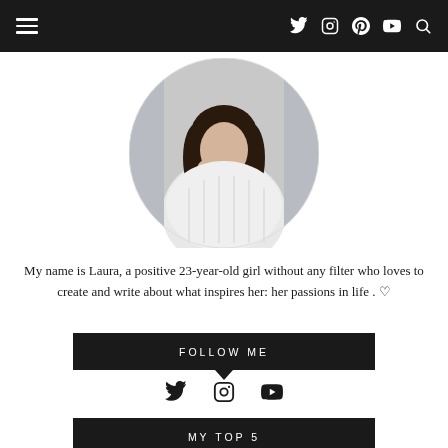Navigation bar with hamburger menu and social icons (Twitter, Instagram, Pinterest, YouTube, Search)
[Figure (photo): Circular profile photo of a young woman with long dark hair wearing a white knit sweater, posed with hands near face against a light grey background]
My name is Laura, a positive 23-year-old girl without any filter who loves to create and write about what inspires her: her passions in life . ♡
FOLLOW ME
[Figure (infographic): Social media icons row: Twitter bird icon, Instagram camera icon, YouTube play button icon]
MY TOP 5